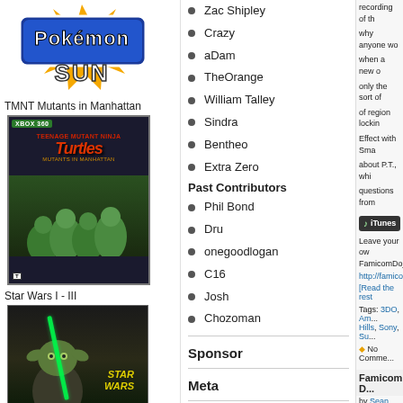[Figure (illustration): Pokémon Sun logo with orange starburst]
TMNT Mutants in Manhattan
[Figure (photo): TMNT Mutants in Manhattan Xbox 360 game box art]
Star Wars I - III
[Figure (photo): Star Wars I-III Blu-ray box art featuring Yoda with green lightsaber]
Zac Shipley
Crazy
aDam
TheOrange
William Talley
Sindra
Bentheo
Extra Zero
Past Contributors
Phil Bond
Dru
onegoodlogan
C16
Josh
Chozoman
Sponsor
Meta
Log in
Entries RSS
recording of th... why anyone wo... when a new o... only the sort of... of region lockin... Effect with Sma... about P.T., whi... questions from...
[Figure (other): iTunes button]
Leave your ow... FamicomDojo....
http://famicomd...
[Read the rest...
Tags: 3DO, Am... Hills, Sony, Su...
No Comme...
Famicom D...
by Sean "TheO...
Magazines hav... but what if som...